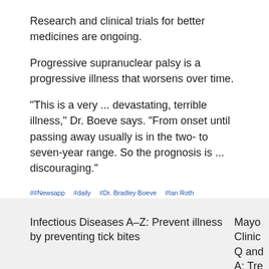Research and clinical trials for better medicines are ongoing.
Progressive supranuclear palsy is a progressive illness that worsens over time.
"This is a very ... devastating, terrible illness," Dr. Boeve says. "From onset until passing away usually is in the two- to seven-year range. So the prognosis is ... discouraging."
##Newsapp  #daily  #Dr. Bradley Boeve  #Ian Roth  #Neurology  #Neurosciences  #Parkinson's disease  #progressive supranuclear palsy  #PSP
Infectious Diseases A–Z: Prevent illness by preventing tick bites
Mayo Clinic Q and A: Tre fibrillation w